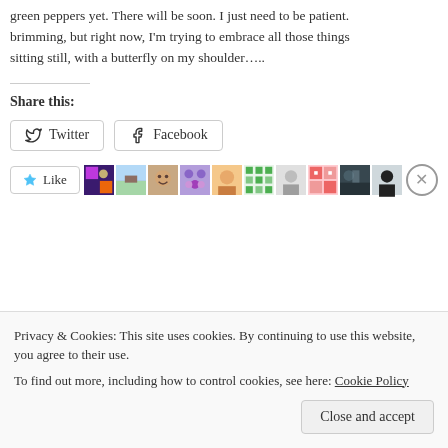green peppers yet. There will be soon. I just need to be patient. brimming, but right now, I'm trying to embrace all those things sitting still, with a butterfly on my shoulder…..
Share this:
Twitter  Facebook
[Figure (screenshot): Like button and row of avatar thumbnails with a close (X) button]
Privacy & Cookies: This site uses cookies. By continuing to use this website, you agree to their use.
To find out more, including how to control cookies, see here: Cookie Policy
Close and accept